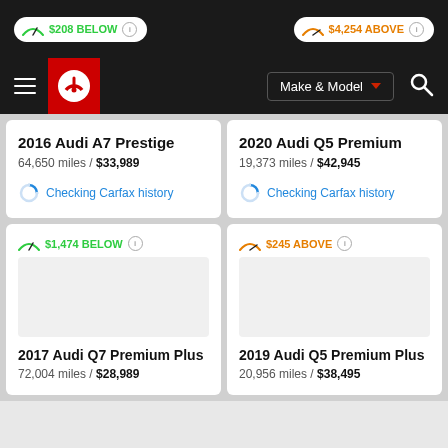$208 BELOW | $4,254 ABOVE
[Figure (screenshot): Navigation bar with hamburger menu, Carfax logo, Make & Model dropdown, and search icon]
2016 Audi A7 Prestige
64,650 miles / $33,989
Checking Carfax history
2020 Audi Q5 Premium
19,373 miles / $42,945
Checking Carfax history
$1,474 BELOW
2017 Audi Q7 Premium Plus
72,004 miles / $28,989
$245 ABOVE
2019 Audi Q5 Premium Plus
20,956 miles / $38,495